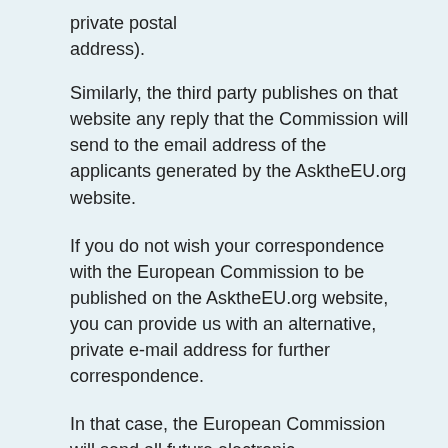private postal address).
Similarly, the third party publishes on that website any reply that the Commission will send to the email address of the applicants generated by the AsktheEU.org website.
If you do not wish your correspondence with the European Commission to be published on the AsktheEU.org website, you can provide us with an alternative, private e-mail address for further correspondence.
In that case, the European Commission will send all future electronic correspondence addressed to you only to that private address.